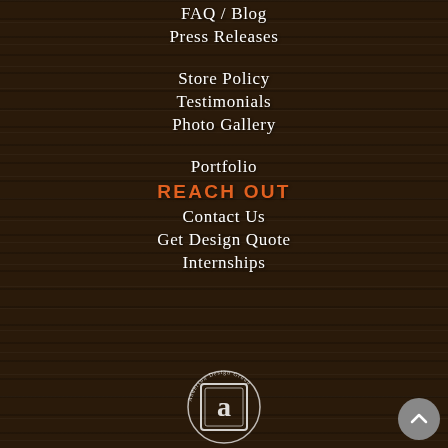FAQ / Blog
Press Releases
Store Policy
Testimonials
Photo Gallery
Portfolio
REACH OUT
Contact Us
Get Design Quote
Internships
[Figure (logo): Anderson Design Group circular logo with stylized 'a' monogram in center, white on dark brown background]
[Figure (other): Back to top button - grey circle with upward chevron arrow]